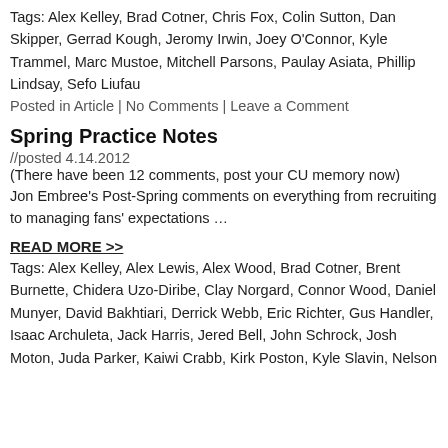Tags: Alex Kelley, Brad Cotner, Chris Fox, Colin Sutton, Dan Skipper, Gerrad Kough, Jeromy Irwin, Joey O'Connor, Kyle Trammel, Marc Mustoe, Mitchell Parsons, Paulay Asiata, Phillip Lindsay, Sefo Liufau
Posted in Article | No Comments | Leave a Comment
Spring Practice Notes
//posted 4.14.2012
(There have been 12 comments, post your CU memory now)
Jon Embree's Post-Spring comments on everything from recruiting to managing fans' expectations …
READ MORE >>
Tags: Alex Kelley, Alex Lewis, Alex Wood, Brad Cotner, Brent Burnette, Chidera Uzo-Diribe, Clay Norgard, Connor Wood, Daniel Munyer, David Bakhtiari, Derrick Webb, Eric Richter, Gus Handler, Isaac Archuleta, Jack Harris, Jered Bell, John Schrock, Josh Moton, Juda Parker, Kaiwi Crabb, Kirk Poston, Kyle Slavin, Nelson